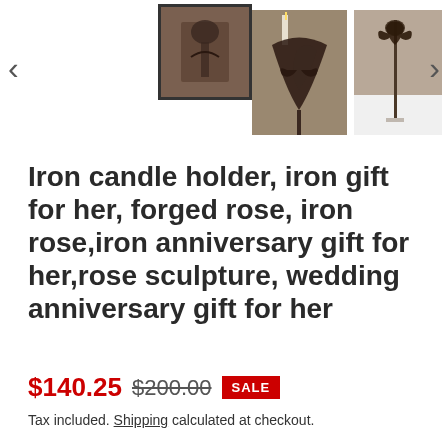[Figure (photo): Product gallery showing three thumbnail images of iron candle holder / forged rose sculptures. Left thumbnail is selected (bordered), center shows a dark iron candle holder with rose decoration and a candle, right shows a tall iron rose stem on a white surface with tile background. Navigation arrows on left and right.]
Iron candle holder, iron gift for her, forged rose, iron rose,iron anniversary gift for her,rose sculpture, wedding anniversary gift for her
$140.25  $200.00  SALE
Tax included. Shipping calculated at checkout.